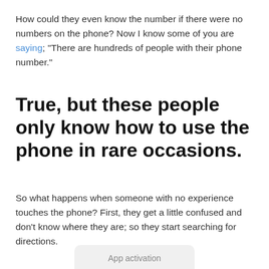How could they even know the number if there were no numbers on the phone? Now I know some of you are saying; “There are hundreds of people with their phone number.”
True, but these people only know how to use the phone in rare occasions.
So what happens when someone with no experience touches the phone? First, they get a little confused and don’t know where they are; so they start searching for directions.
App activation